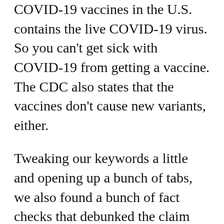COVID-19 vaccines in the U.S. contains the live COVID-19 virus. So you can't get sick with COVID-19 from getting a vaccine. The CDC also states that the vaccines don't cause new variants, either.
Tweaking our keywords a little and opening up a bunch of tabs, we also found a bunch of fact checks that debunked the claim that the vaccines are to blame for the spike in cases. The real culprit? The omicron variant. USA Today debunked the idea that vaccinated people are more